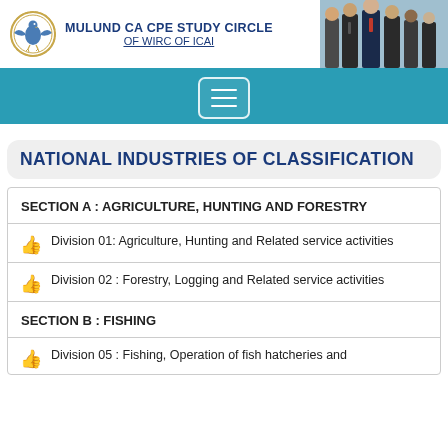MULUND CA CPE STUDY CIRCLE OF WIRC OF ICAI
NATIONAL INDUSTRIES OF CLASSIFICATION
SECTION A : AGRICULTURE, HUNTING AND FORESTRY
Division 01: Agriculture, Hunting and Related service activities
Division 02 : Forestry, Logging and Related service activities
SECTION B : FISHING
Division 05 : Fishing, Operation of fish hatcheries and